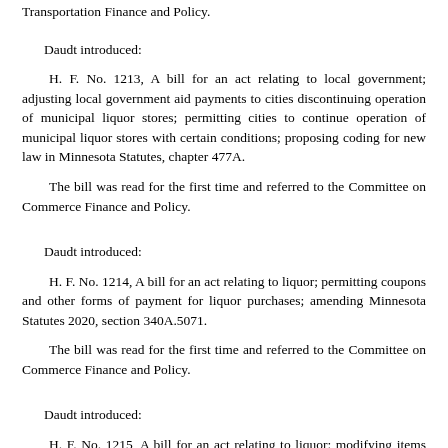Transportation Finance and Policy.
Daudt introduced:
H. F. No. 1213, A bill for an act relating to local government; adjusting local government aid payments to cities discontinuing operation of municipal liquor stores; permitting cities to continue operation of municipal liquor stores with certain conditions; proposing coding for new law in Minnesota Statutes, chapter 477A.
The bill was read for the first time and referred to the Committee on Commerce Finance and Policy.
Daudt introduced:
H. F. No. 1214, A bill for an act relating to liquor; permitting coupons and other forms of payment for liquor purchases; amending Minnesota Statutes 2020, section 340A.5071.
The bill was read for the first time and referred to the Committee on Commerce Finance and Policy.
Daudt introduced:
H. F. No. 1215, A bill for an act relating to liquor; modifying items sold by exclusive liquor stores; amending Minnesota Statutes 2020, section 340A.412, subdivision 14.
The bill was read for the first time and referred to the Committee on